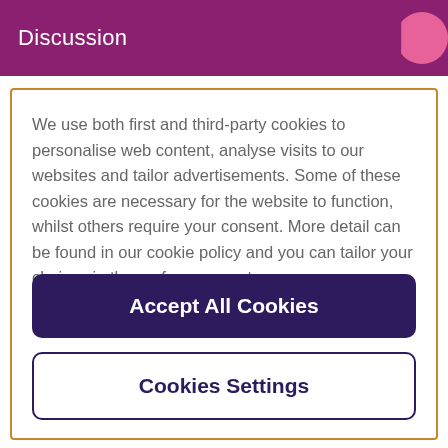Discussion
We use both first and third-party cookies to personalise web content, analyse visits to our websites and tailor advertisements. Some of these cookies are necessary for the website to function, whilst others require your consent. More detail can be found in our cookie policy and you can tailor your choices in the preference centre.
Accept All Cookies
Cookies Settings